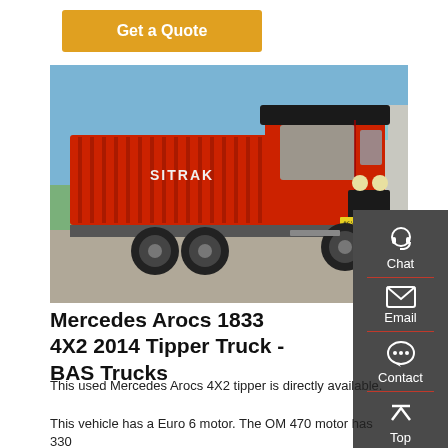Get a Quote
[Figure (photo): Red SITRAK tipper/dump truck parked outdoors in front of a building, front-left view showing the large dump bed and cab]
Mercedes Arocs 1833 4X2 2014 Tipper Truck - BAS Trucks
This used Mercedes Arocs 4X2 tipper is directly available.
This vehicle has a Euro 6 motor. The OM 470 motor has 330